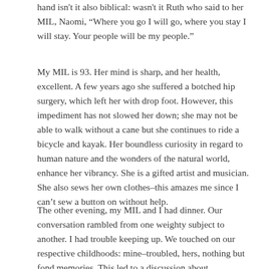hand isn't it also biblical: wasn't it Ruth who said to her MIL, Naomi, "Where you go I will go, where you stay I will stay. Your people will be my people."
My MIL is 93. Her mind is sharp, and her health, excellent. A few years ago she suffered a botched hip surgery, which left her with drop foot. However, this impediment has not slowed her down; she may not be able to walk without a cane but she continues to ride a bicycle and kayak. Her boundless curiosity in regard to human nature and the wonders of the natural world, enhance her vibrancy. She is a gifted artist and musician. She also sews her own clothes–this amazes me since I can't sew a button on without help.
The other evening, my MIL and I had dinner. Our conversation rambled from one weighty subject to another. I had trouble keeping up. We touched on our respective childhoods: mine–troubled, hers, nothing but fond memories. This led to a discussion about...